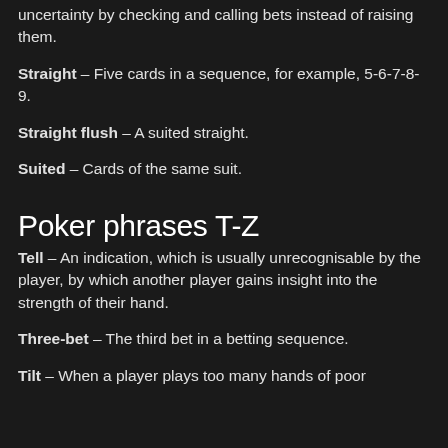uncertainty by checking and calling bets instead of raising them.
Straight – Five cards in a sequence, for example, 5-6-7-8-9.
Straight flush – A suited straight.
Suited – Cards of the same suit.
Poker phrases T-Z
Tell – An indication, which is usually unrecognisable by the player, by which another player gains insight into the strength of their hand.
Three-bet – The third bet in a betting sequence.
Tilt – When a player plays too many hands of poor